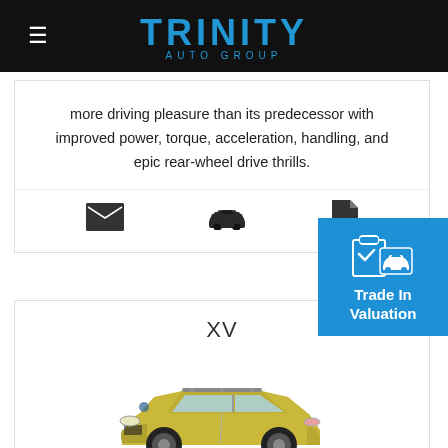Trinity Auto Group
more driving pleasure than its predecessor with improved power, torque, acceleration, handling, and epic rear-wheel drive thrills.
[Figure (infographic): Row of three icons: envelope, car, document]
[Figure (infographic): Trade In Valuation blue badge with clipboard and car icon]
XV
[Figure (photo): Gold/yellow Subaru XV AWD SUV on white background]
Take fun to the next level with Subaru XV AWD, the